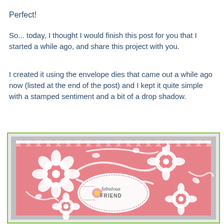Perfect!
So... today, I thought I would finish this post for you that I started a while ago, and share this project with you.
I created it using the envelope dies that came out a while ago now (listed at the end of the post) and I kept it quite simple with a stamped sentiment and a bit of a drop shadow.
[Figure (photo): A handmade greeting card featuring white intricate floral die-cut lace overlay on a pink/coral background, with an oval sentiment label in the center reading 'fabulous FRIEND' with a pink flower, framed in a gray card holder.]